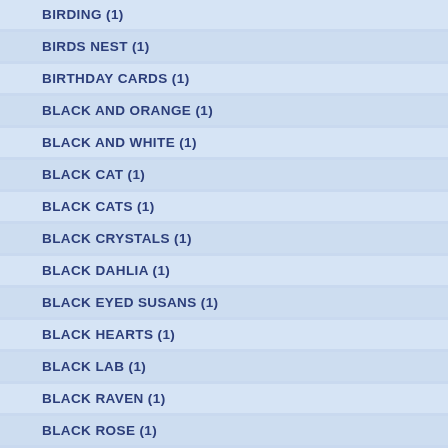BIRDING (1)
BIRDS NEST (1)
BIRTHDAY CARDS (1)
BLACK AND ORANGE (1)
BLACK AND WHITE (1)
BLACK CAT (1)
BLACK CATS (1)
BLACK CRYSTALS (1)
BLACK DAHLIA (1)
BLACK EYED SUSANS (1)
BLACK HEARTS (1)
BLACK LAB (1)
BLACK RAVEN (1)
BLACK ROSE (1)
BLESS THIS WOMAN (1)
BLESSED MOTHER (1)
BLOCK (1)
BLOG SHADOW DOG DESIGNS (1)